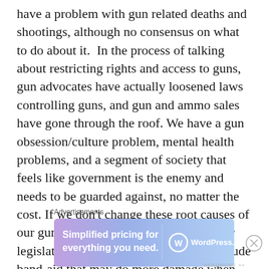have a problem with gun related deaths and shootings, although no consensus on what to do about it.  In the process of talking about restricting rights and access to guns, gun advocates have actually loosened laws controlling guns, and gun and ammo sales have gone through the roof. We have a gun obsession/culture problem, mental health problems, and a segment of society that feels like government is the enemy and needs to be guarded against, no matter the cost. If we don't change these root causes of our gun problem, its unlikely any laws or legislation will provide anything but a crude band-aid that may do more damage when it's torn off than the wound it was
Advertisements
[Figure (other): WordPress.com advertisement banner with gradient purple-blue background. Text reads 'Simplified pricing for everything you need.' with WordPress.com logo on the right.]